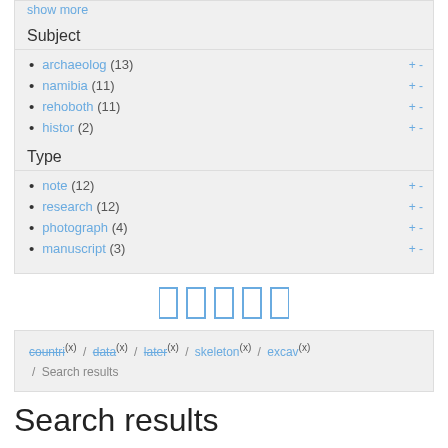show more
Subject
archaeolog (13)
namibia (11)
rehoboth (11)
histor (2)
Type
note (12)
research (12)
photograph (4)
manuscript (3)
[Figure (other): Pagination bar with 5 page navigation icons]
countri(x) / data(x) / later(x) / skeleton(x) / excav(x) / Search results
Search results